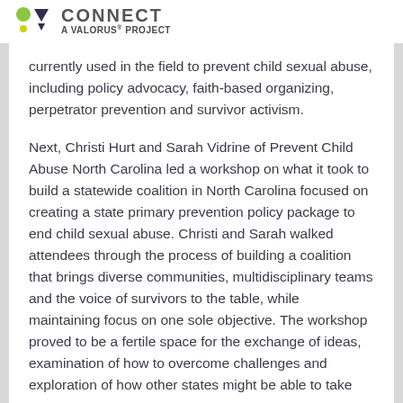CONNECT A ValorUS PROJECT
currently used in the field to prevent child sexual abuse, including policy advocacy, faith-based organizing, perpetrator prevention and survivor activism.
Next, Christi Hurt and Sarah Vidrine of Prevent Child Abuse North Carolina led a workshop on what it took to build a statewide coalition in North Carolina focused on creating a state primary prevention policy package to end child sexual abuse. Christi and Sarah walked attendees through the process of building a coalition that brings diverse communities, multidisciplinary teams and the voice of survivors to the table, while maintaining focus on one sole objective. The workshop proved to be a fertile space for the exchange of ideas, examination of how to overcome challenges and exploration of how other states might be able to take